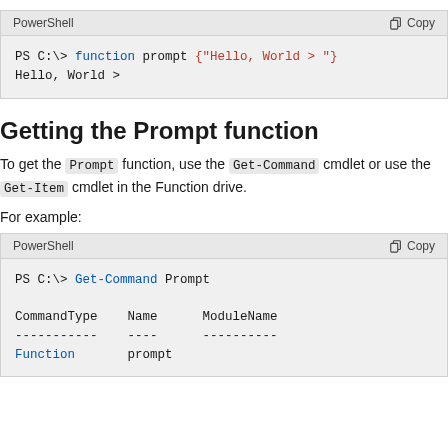[Figure (screenshot): PowerShell code block showing: PS C:\> function prompt {"Hello, World > "} / Hello, World >]
Getting the Prompt function
To get the Prompt function, use the Get-Command cmdlet or use the Get-Item cmdlet in the Function drive.
For example:
[Figure (screenshot): PowerShell code block showing: PS C:\> Get-Command Prompt / CommandType  Name  ModuleName / ----------  ----  ---------- / Function    prompt]